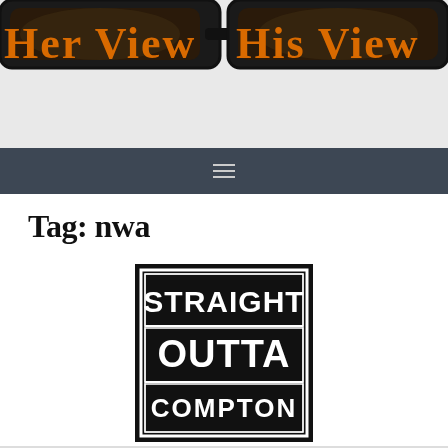[Figure (photo): Website header banner with glasses/eyewear image and orange serif text reading 'Her View His View' partially visible]
≡
Tag: nwa
[Figure (illustration): Black square image with white block text reading 'STRAIGHT OUTTA COMPTON' in bold, bordered style — movie/album logo]